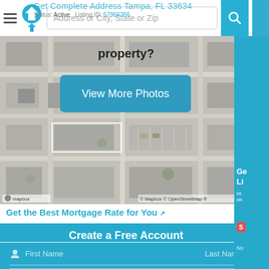Get Complete Address Tampa, FL 33634 | Status: Active | Listing ID: 57966366
[Figure (screenshot): Real estate website header with hamburger menu, home logo icon, address/city/state/zip search bar, and teal search button with magnifier icon]
[Figure (photo): Aerial/satellite map view of a property in Tampa FL, shown via Mapbox and OpenStreetMap, with a 'View More Photos' teal button overlay and 'property?' text]
Get the Best Mortgage Rate for You ↗
Create a Free Account
First Name | Last Name
Email
Create Password